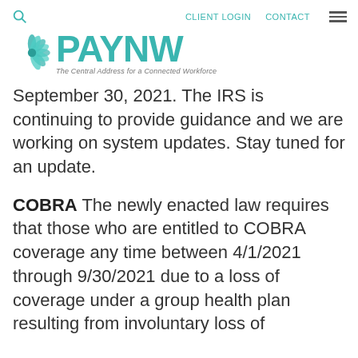CLIENT LOGIN   CONTACT   [menu]
[Figure (logo): PAYNW logo with teal flower and text 'The Central Address for a Connected Workforce']
September 30, 2021. The IRS is continuing to provide guidance and we are working on system updates. Stay tuned for an update.
COBRA The newly enacted law requires that those who are entitled to COBRA coverage any time between 4/1/2021 through 9/30/2021 due to a loss of coverage under a group health plan resulting from involuntary loss of